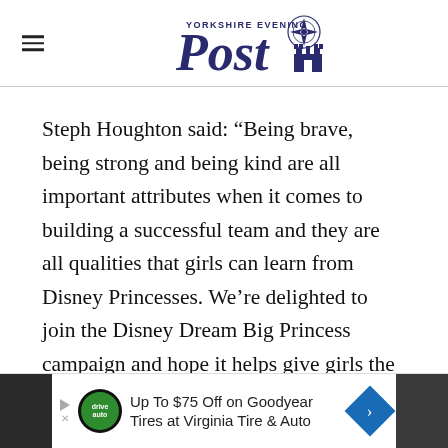Yorkshire Evening Post
Steph Houghton said: “Being brave, being strong and being kind are all important attributes when it comes to building a successful team and they are all qualities that girls can learn from Disney Princesses. We’re delighted to join the Disney Dream Big Princess campaign and hope it helps give girls the confidence to believe in themselves.”
[Figure (other): Advertisement banner: Up To $75 Off on Goodyear Tires at Virginia Tire & Auto, with DriveAuto logo and navigation arrow icon, flanked by dark structural/building images on either side.]